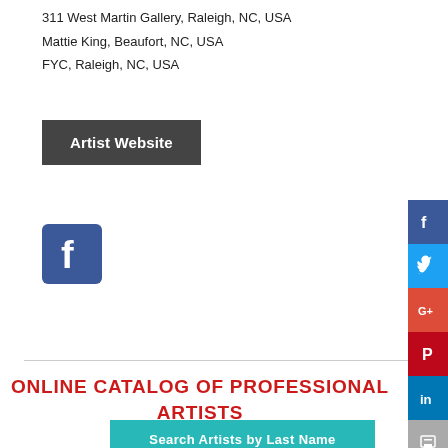311 West Martin Gallery, Raleigh, NC, USA
Mattie King, Beaufort, NC, USA
FYC, Raleigh, NC, USA
Artist Website
[Figure (logo): Facebook logo icon — blue square with white 'f']
[Figure (infographic): Social sharing sidebar with Facebook, Twitter, Google+, Pinterest, LinkedIn, Print, and More buttons]
ONLINE CATALOG OF PROFESSIONAL ARTISTS
Search Artists by Last Name